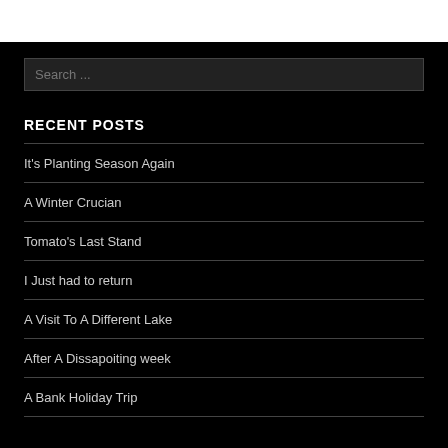Search ...
RECENT POSTS
It's Planting Season Again
A Winter Crucian
Tomato's Last Stand
I Just had to return
A Visit To A Different Lake
After A Dissapoiting week
A Bank Holiday Trip